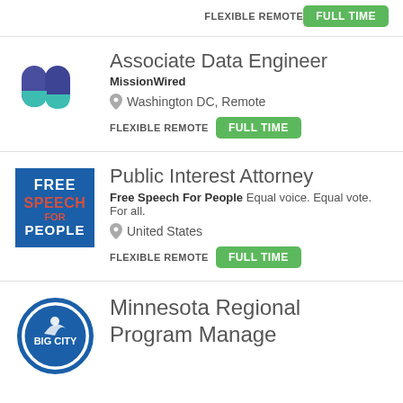FLEXIBLE REMOTE   FULL TIME
[Figure (logo): MissionWired logo — two blue and teal pill/capsule shapes]
Associate Data Engineer
MissionWired
Washington DC, Remote
FLEXIBLE REMOTE   FULL TIME
[Figure (logo): Free Speech For People logo — blue square with text FREE SPEECH FOR PEOPLE]
Public Interest Attorney
Free Speech For People Equal voice. Equal vote. For all.
United States
FLEXIBLE REMOTE   FULL TIME
[Figure (logo): Big City logo — blue circle with illustration]
Minnesota Regional Program Manage